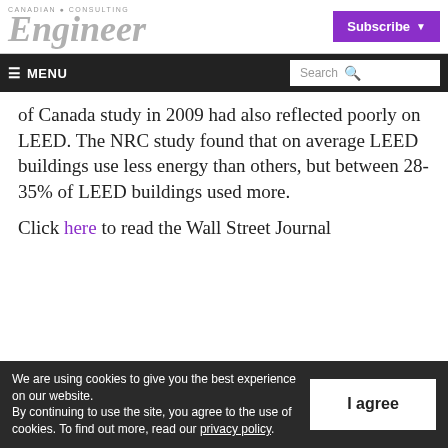CANADIAN CONSULTING Engineer
of Canada study in 2009 had also reflected poorly on LEED. The NRC study found that on average LEED buildings use less energy than others, but between 28-35% of LEED buildings used more.
Click here to read the Wall Street Journal
We are using cookies to give you the best experience on our website.
By continuing to use the site, you agree to the use of cookies. To find out more, read our privacy policy.